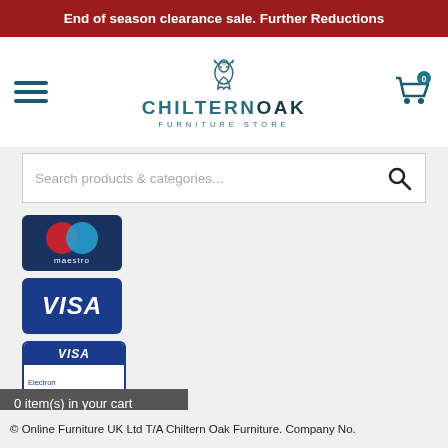End of season clearance sale. Further Reductions
[Figure (logo): Chiltern Oak Furniture Store logo with squirrel icon]
Search products & categories...
[Figure (logo): Maestro payment card logo]
[Figure (logo): Visa payment card logo]
[Figure (logo): Visa Electron payment card logo]
Follow us on
0 item(s) in your cart
© Online Furniture UK Ltd T/A Chiltern Oak Furniture. Company No.